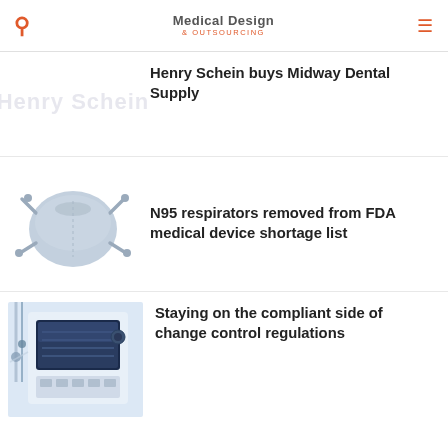Medical Design & Outsourcing
Henry Schein buys Midway Dental Supply
[Figure (photo): N95 respirator mask on white background]
N95 respirators removed from FDA medical device shortage list
[Figure (photo): Medical device control panel / infusion pump display screen]
Staying on the compliant side of change control regulations